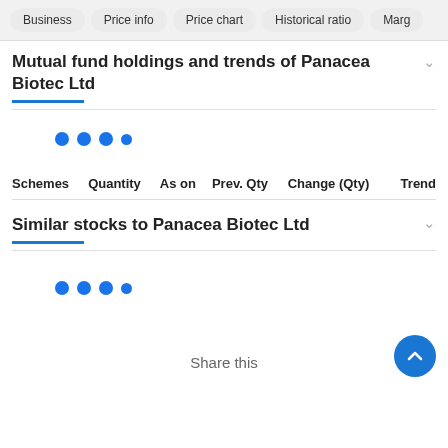Business | Price info | Price chart | Historical ratio | Marg
Mutual fund holdings and trends of Panacea Biotec Ltd
[Figure (other): Loading indicator with blue dots]
| Schemes | Quantity | As on | Prev. Qty | Change (Qty) | Trend |
| --- | --- | --- | --- | --- | --- |
Similar stocks to Panacea Biotec Ltd
[Figure (other): Loading indicator with blue dots]
Share this